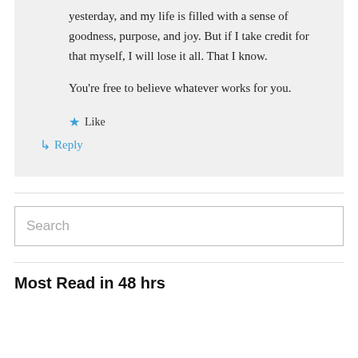yesterday, and my life is filled with a sense of goodness, purpose, and joy. But if I take credit for that myself, I will lose it all. That I know.

You're free to believe whatever works for you.
★ Like
↳ Reply
Search
Most Read in 48 hrs